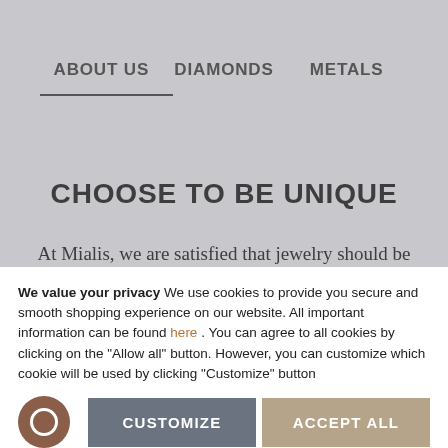ABOUT US    DIAMONDS    METALS
CHOOSE TO BE UNIQUE
At Mialis, we are satisfied that jewelry should be as unique as your moments, memories and people that are around you. Not something from the catalogue that million other people
We value your privacy We use cookies to provide you secure and smooth shopping experience on our website. All important information can be found here . You can agree to all cookies by clicking on the "Allow all" button. However, you can customize which cookie will be used by clicking "Customize" button
CUSTOMIZE   ACCEPT ALL